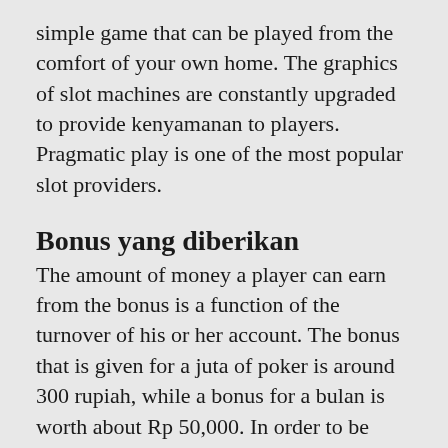simple game that can be played from the comfort of your own home. The graphics of slot machines are constantly upgraded to provide kenyamanan to players. Pragmatic play is one of the most popular slot providers.
Bonus yang diberikan
The amount of money a player can earn from the bonus is a function of the turnover of his or her account. The bonus that is given for a juta of poker is around 300 rupiah, while a bonus for a bulan is worth about Rp 50,000. In order to be eligible for the bonus, a player must first bermain.